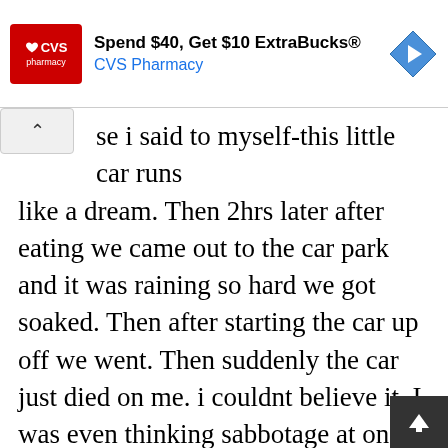[Figure (screenshot): CVS Pharmacy advertisement banner: red CVS pharmacy logo on left, text 'Spend $40, Get $10 ExtraBucks® CVS Pharmacy' in center, blue diamond arrow icon on right]
se i said to myself-this little car runs like a dream. Then 2hrs later after eating we came out to the car park and it was raining so hard we got soaked. Then after starting the car up off we went. Then suddenly the car just died on me. i couldnt believe it. I was even thinking sabbotage at one point.I lifted the bonnet but all looked fine nothing looked wrong, so we called the greenflag out, Then after 1 h passed they turned up in a flat bed tow